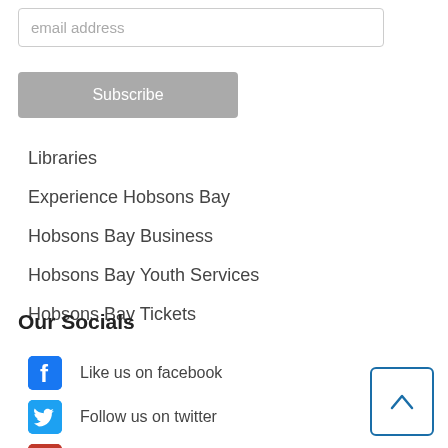email address
Subscribe
Libraries
Experience Hobsons Bay
Hobsons Bay Business
Hobsons Bay Youth Services
Hobsons Bay Tickets
Our Socials
Like us on facebook
Follow us on twitter
Watch us on YouTube